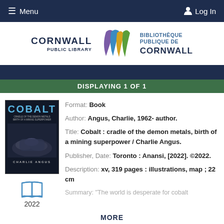≡ Menu   Log In
[Figure (logo): Cornwall Public Library / Bibliothèque Publique de Cornwall logo with colorful book pages graphic]
DISPLAYING 1 OF 1
[Figure (photo): Book cover of Cobalt: cradle of the demon metals, birth of a mining superpower by Charlie Angus — dark cover with hands and blue title text]
Format: Book
Author: Angus, Charlie, 1962- author.
Title: Cobalt : cradle of the demon metals, birth of a mining superpower / Charlie Angus.
Publisher, Date: Toronto : Anansi, [2022]. ©2022.
Description: xv, 319 pages : illustrations, map ; 22 cm
Summary: "The world is desperate for cobalt
MORE